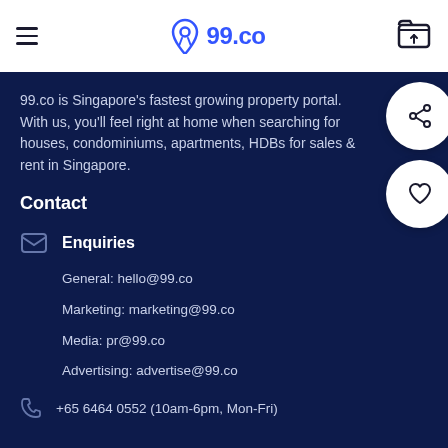99.co
99.co is Singapore's fastest growing property portal. With us, you'll feel right at home when searching for houses, condominiums, apartments, HDBs for sales & rent in Singapore.
Contact
Enquiries
General: hello@99.co
Marketing: marketing@99.co
Media: pr@99.co
Advertising: advertise@99.co
+65 6464 0552 (10am-6pm, Mon-Fri)